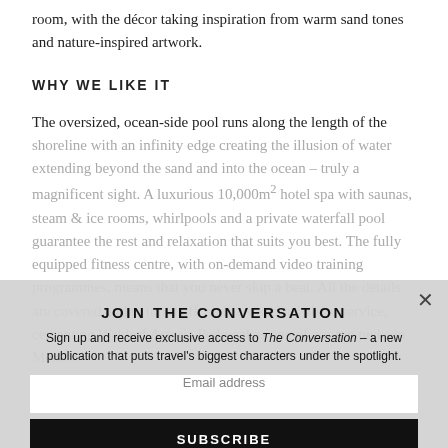room, with the décor taking inspiration from warm sand tones and nature-inspired artwork.
WHY WE LIKE IT
The oversized, ocean-side pool runs along the length of the shoreline with an infinity edge creating the illusion of water extending beyond the sand and into the ocean – truly a magnificent sight. A luxurious 10,000m2 hotel spa with saunas, steam & ice rooms, whirlpools and a private waterfall pool guarantee the rest and relaxation that suits you best. The fully equipped fitness centre, with on-demand video training programmes, means that you never skip a beat. All the details are covered and to top it off, staff are serious about service, cementing Waldorf Astoria Pedregal as one of our top picks in Mexico.
JOIN THE CONVERSATION
Sign up and receive exclusive access to The Conversation – a new publication that puts travel's biggest characters under the spotlight.
Email address
SUBSCRIBE